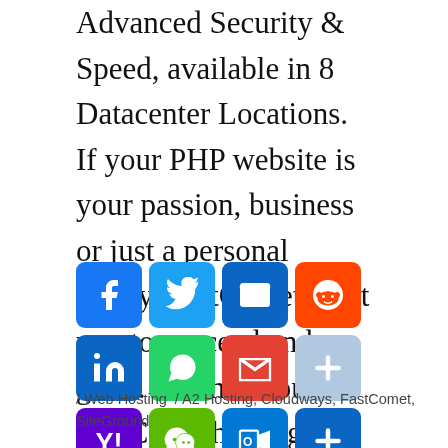Advanced Security & Speed, available in 8 Datacenter Locations. If your PHP website is your passion, business or just a personal hobby, FastComet want you to succeed and grow. We made our FastCloud hosting platform so you can stay focused on what is essential while we manage everything else for you. Free Domain Transfer.
[Figure (infographic): Social share buttons: Facebook, Twitter, Email, Reddit, LinkedIn, WhatsApp, Gmail, AddThis, Yahoo, WeChat, Outlook, Share]
/ Web Hosting / A2 Hosting, Cloudways, FastComet, SiteGround